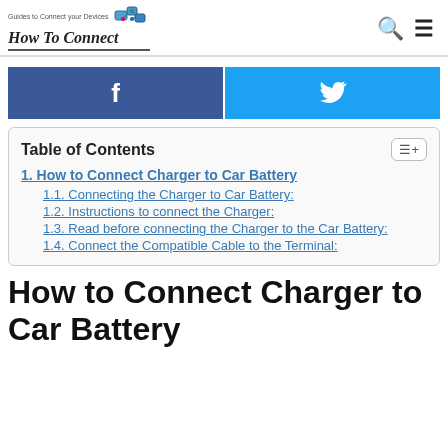Guides to Connect your Devices | How To Connect
[Figure (infographic): Facebook share button (dark blue) and Twitter share button (light blue) side by side]
Table of Contents
1. How to Connect Charger to Car Battery
1.1. Connecting the Charger to Car Battery:
1.2. Instructions to connect the Charger:
1.3. Read before connecting the Charger to the Car Battery:
1.4. Connect the Compatible Cable to the Terminal:
How to Connect Charger to Car Battery